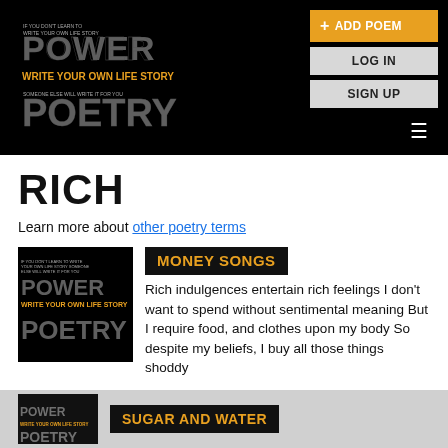[Figure (logo): Power Poetry logo - text made of words on black background with 'Write Your Own Life Story' tagline]
+ ADD POEM
LOG IN
SIGN UP
RICH
Learn more about other poetry terms
[Figure (logo): Power Poetry thumbnail logo on black background]
MONEY SONGS
Rich indulgences entertain rich feelings I don't want to spend without sentimental meaning But I require food, and clothes upon my body So despite my beliefs, I buy all those things shoddy
[Figure (photo): Power Poetry thumbnail logo on black background - partial view]
SUGAR AND WATER